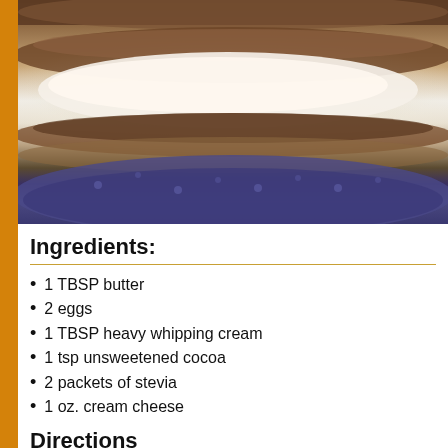[Figure (photo): Close-up photo of chocolate crepes filled with cream cheese filling, served on a blue patterned plate]
Ingredients:
1 TBSP butter
2 eggs
1 TBSP heavy whipping cream
1 tsp unsweetened cocoa
2 packets of stevia
1 oz. cream cheese
Directions